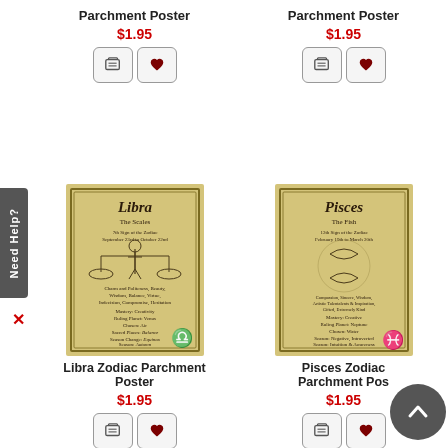Parchment Poster
$1.95
Parchment Poster
$1.95
[Figure (illustration): Libra zodiac parchment poster with scales illustration on aged parchment background]
[Figure (illustration): Pisces zodiac parchment poster with fish symbol on aged parchment background]
Libra Zodiac Parchment Poster
$1.95
Pisces Zodiac Parchment Pos
$1.95